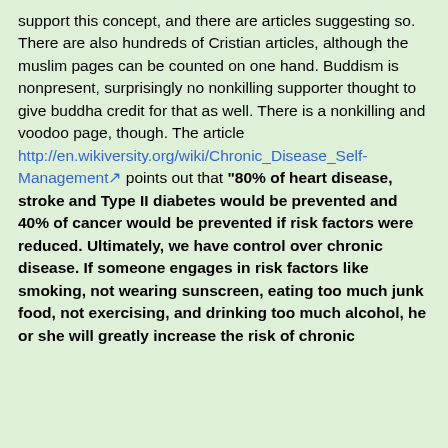support this concept, and there are articles suggesting so. There are also hundreds of Cristian articles, although the muslim pages can be counted on one hand. Buddism is nonpresent, surprisingly no nonkilling supporter thought to give buddha credit for that as well. There is a nonkilling and voodoo page, though. The article http://en.wikiversity.org/wiki/Chronic_Disease_Self-Management points out that "80% of heart disease, stroke and Type II diabetes would be prevented and 40% of cancer would be prevented if risk factors were reduced. Ultimately, we have control over chronic disease. If someone engages in risk factors like smoking, not wearing sunscreen, eating too much junk food, not exercising, and drinking too much alcohol, he or she will greatly increase the risk of chronic